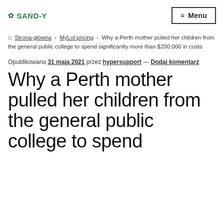✿ SAND-Y  ≡ Menu
🏠 Strona główna › MyLol pricing › Why a Perth mother pulled her children from the general public college to spend significantly more than $200,000 in costs
Opublikowano 31 maja 2021 przez hypersupport — Dodaj komentarz
Why a Perth mother pulled her children from the general public college to spend